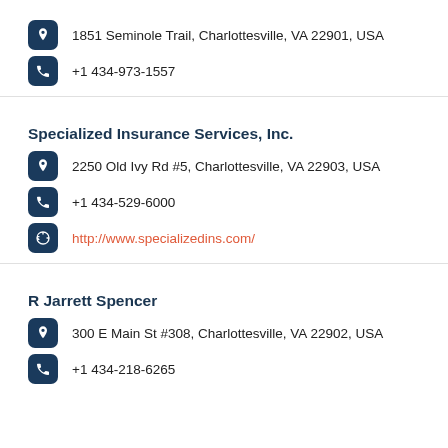1851 Seminole Trail, Charlottesville, VA 22901, USA
+1 434-973-1557
Specialized Insurance Services, Inc.
2250 Old Ivy Rd #5, Charlottesville, VA 22903, USA
+1 434-529-6000
http://www.specializedins.com/
R Jarrett Spencer
300 E Main St #308, Charlottesville, VA 22902, USA
+1 434-218-6265